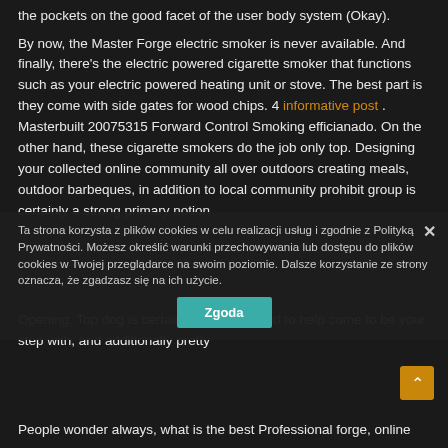the pockets on the good facet of the user body system (Okay).
By now, the Master Forge electric smoker is never available. And finally, there's the electric powered cigarette smoker that functions such as your electric powered heating unit or stove. The best part is they come with side gates for wood chips. 4 informative post . Masterbuilt 20075315 Forward Control Smoking efficianado. On the other hand, these cigarette smokers do the job only top. Designing your collected online community all over outdoors creating meals, outdoor barbeques, in addition to local community prohibit group is certainly a strong primary notion Opening. Top dog is certainly pretty pleased to help come to be your step with, and additionally pretty
Ta strona korzysta z plików cookies w celu realizacji usług i zgodnie z Polityką Prywatności. Możesz określić warunki przechowywania lub dostępu do plików cookies w Twojej przeglądarce na swoim poziomie. Dalsze korzystanie ze strony oznacza, że zgadzasz się na ich użycie.
People wonder always, what is the best Professional forge, online